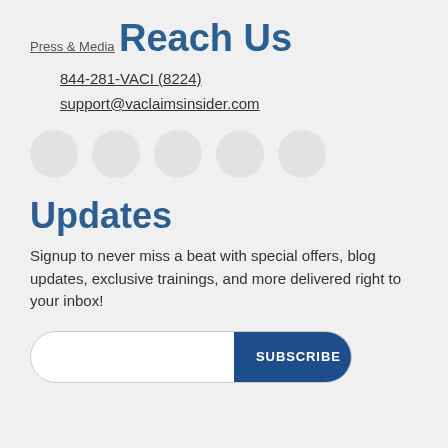Press & Media
Reach Us
844-281-VACI (8224)
support@vaclaimsinsider.com
[Figure (illustration): Five grey social media icon circles in a row]
Updates
Signup to never miss a beat with special offers, blog updates, exclusive trainings, and more delivered right to your inbox!
[Figure (other): Email input field with a Subscribe button]